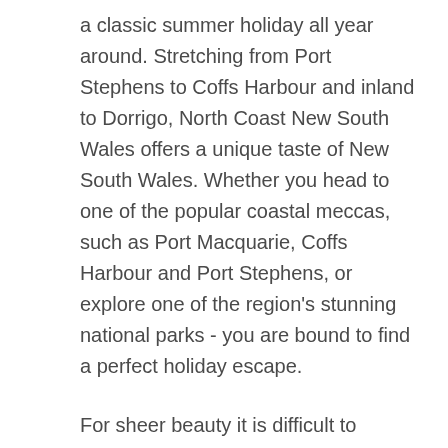a classic summer holiday all year around. Stretching from Port Stephens to Coffs Harbour and inland to Dorrigo, North Coast New South Wales offers a unique taste of New South Wales. Whether you head to one of the popular coastal meccas, such as Port Macquarie, Coffs Harbour and Port Stephens, or explore one of the region's stunning national parks - you are bound to find a perfect holiday escape.
For sheer beauty it is difficult to surpass the golden beaches which dot the coastline. Shoal Bay, Forster, Old Bar, Harrington, Laurieton, Crescent Head, South West Rocks and Nambucca Heads are some of the best known, but there are many more remote coves and inlets scattered along the coast. The choice is simply dazzling. Enjoy spectacular coastal walks or join an off-road adventure over towering sand dunes to Stockton Beach, or follow the dolphins to Port Stephens and its famous Pearl White Beaches.